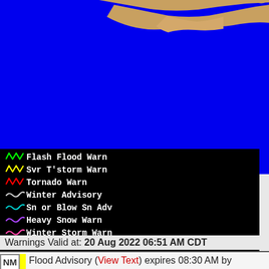[Figure (map): Weather radar/map showing blue background (ocean/atmosphere) with tan/orange land mass shape in upper right portion, representing a geographic map view with weather warning overlays.]
[Figure (other): Legend box on black background listing weather warning types with colored squiggly line icons: Flash Flood Warn (green), Svr T'storm Warn (yellow), Tornado Warn (red), Winter Advisory (white), Sn or Blow Sn Adv (light blue/cyan), Heavy Snow Warn (purple), Winter Storm Warn (pink/magenta), Ice/Frz/Sleet Warn (light pink), Blizzard Warn (dark red/maroon)]
Warnings Valid at: 20 Aug 2022 06:51 AM CDT
NM Flood Advisory (View Text) expires 08:30 AM by EPZ (CD)